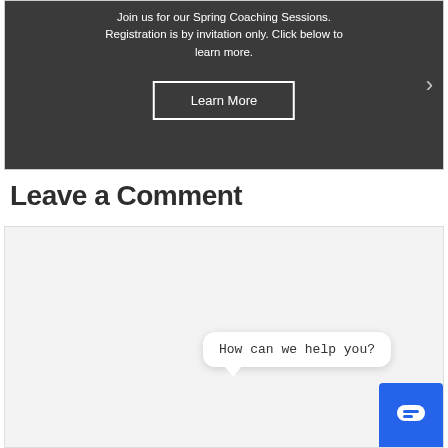[Figure (screenshot): A hero banner image with a dark background showing a laptop keyboard. Text overlay reads: 'Join us for our Spring Coaching Sessions. Registration is by invitation only. Click below to learn more.' with a 'Learn More' button in a white border rectangle. A right navigation arrow is visible on the right side.]
Leave a Comment
[Figure (screenshot): A comment input area (light gray box) with a chat widget overlay showing a white speech bubble with 'How can we help you?' and a blue chat launcher button with a chat icon.]